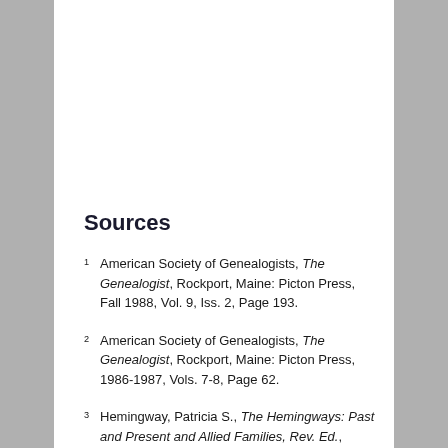Sources
1 American Society of Genealogists, The Genealogist, Rockport, Maine: Picton Press, Fall 1988, Vol. 9, Iss. 2, Page 193.
2 American Society of Genealogists, The Genealogist, Rockport, Maine: Picton Press, 1986-1987, Vols. 7-8, Page 62.
3 Hemingway, Patricia S., The Hemingways: Past and Present and Allied Families, Rev. Ed., Baltimore: Gateway Press, Inc. (1988), 10.
4 Richardson, Douglas, Royal Ancestry: A Study in Colonial...